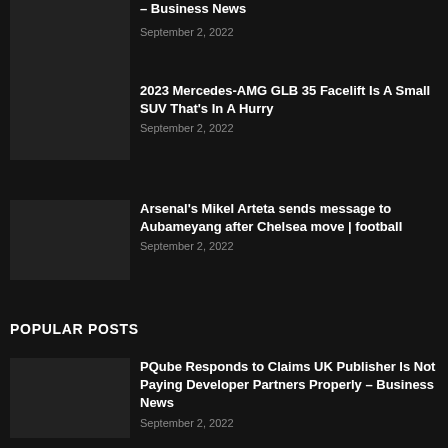– Business News
September 2, 2022
2023 Mercedes-AMG GLB 35 Facelift Is A Small SUV That's In A Hurry
September 2, 2022
Arsenal's Mikel Arteta sends message to Aubameyang after Chelsea move | football
September 2, 2022
POPULAR POSTS
PQube Responds to Claims UK Publisher Is Not Paying Developer Partners Properly – Business News
September 2, 2022